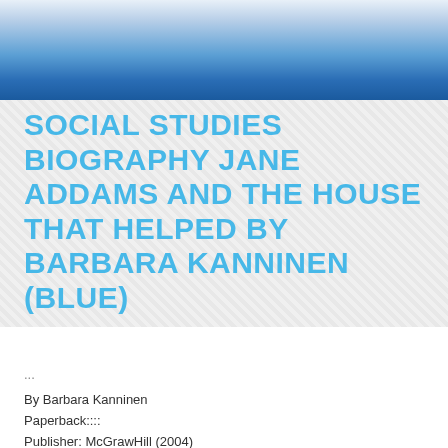[Figure (photo): Photo of a blue and white surface, likely a book cover with blue and white colors.]
SOCIAL STUDIES BIOGRAPHY JANE ADDAMS AND THE HOUSE THAT HELPED BY BARBARA KANNINEN (BLUE)
...
By Barbara Kanninen
Paperback::::
Publisher: McGrawHill (2004)
ISBN-10: 0021518971